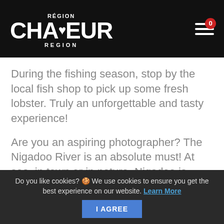RÉGION CHALEUR REGION
During the fishing season, stop by the local fish shop to pick up some fresh lobster. Truly an unforgettable and tasty experience!
Are you an aspiring photographer? The Nigadoo River is an absolute must! At sea, in town or in nature, Nigadoo is, without a
Do you like cookies? 🍪 We use cookies to ensure you get the best experience on our website. Learn More
I AGREE